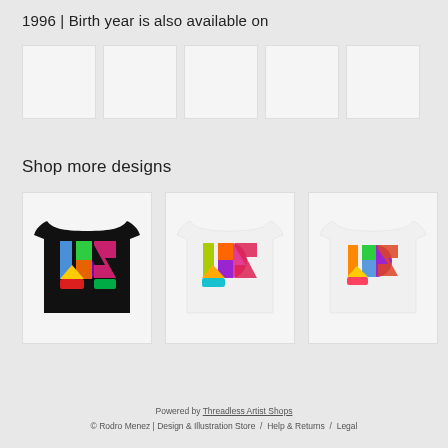1996 | Birth year is also available on
[Figure (photo): Row of 5 product thumbnail images (light gray placeholder boxes)]
Shop more designs
[Figure (photo): Three t-shirt product photos showing colorful '1923' number design: black t-shirt (left), white t-shirt (center), white t-shirt (right)]
Powered by Threadless Artist Shops
© Rodro Menez | Design & Illustration Store  /  Help & Returns  /  Legal